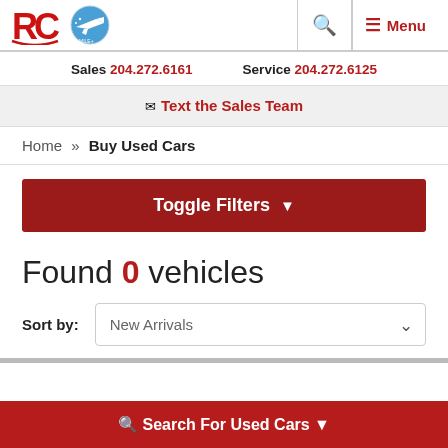RC [logo] [airplane logo] | Search | Menu
Sales 204.272.6161   Service 204.272.6125
✉ Text the Sales Team
Home » Buy Used Cars
Toggle Filters ▼
Found 0 vehicles
Sort by: New Arrivals
🔍 Search For Used Cars ▼